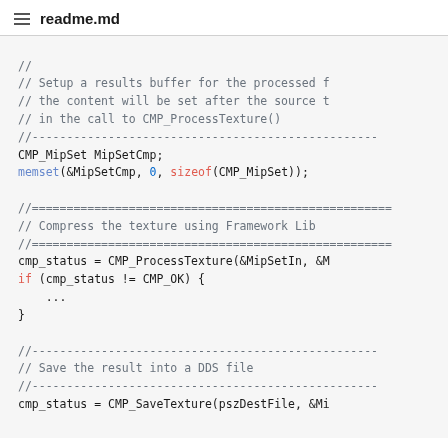readme.md
// Setup a results buffer for the processed f
// the content will be set after the source t
// in the call to CMP_ProcessTexture()
//--------------------------------------------------
CMP_MipSet MipSetCmp;
memset(&MipSetCmp, 0, sizeof(CMP_MipSet));

//====================================================
// Compress the texture using Framework Lib
//====================================================
cmp_status = CMP_ProcessTexture(&MipSetIn, &M
if (cmp_status != CMP_OK) {
    ...
}

//--------------------------------------------------
// Save the result into a DDS file
//--------------------------------------------------
cmp_status = CMP_SaveTexture(pszDestFile, &Mi